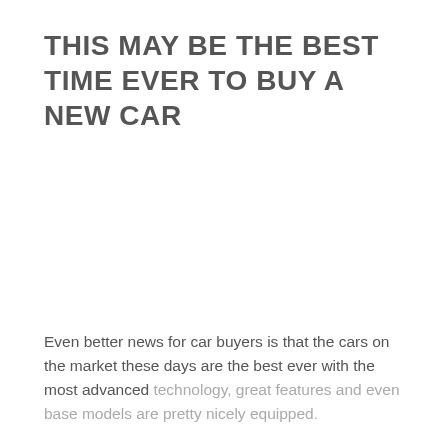THIS MAY BE THE BEST TIME EVER TO BUY A NEW CAR
Even better news for car buyers is that the cars on the market these days are the best ever with the most advanced technology, great features and even base models are pretty nicely equipped.